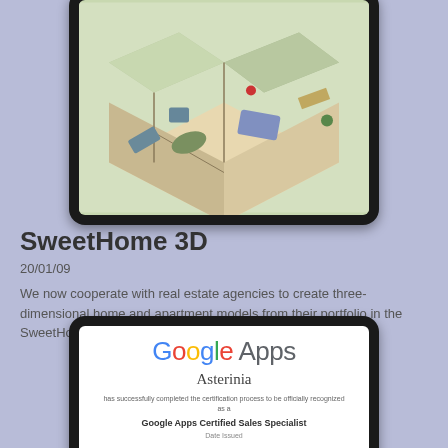[Figure (illustration): A tablet device showing a 3D floor plan of a home/apartment in the SweetHome 3D application, viewed from an isometric angle]
SweetHome 3D
20/01/09
We now cooperate with real estate agencies to create three-dimensional home and apartment models from their portfolio in the SweetHome 3D application.
[Figure (illustration): A tablet device showing a Google Apps certificate for Asterinia, stating it has successfully completed the certification process to be officially recognized as a Google Apps Certified Sales Specialist]